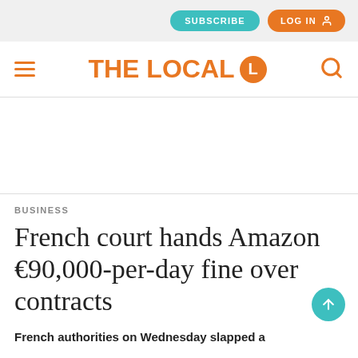SUBSCRIBE  LOG IN
THE LOCAL
BUSINESS
French court hands Amazon €90,000-per-day fine over contracts
French authorities on Wednesday slapped a